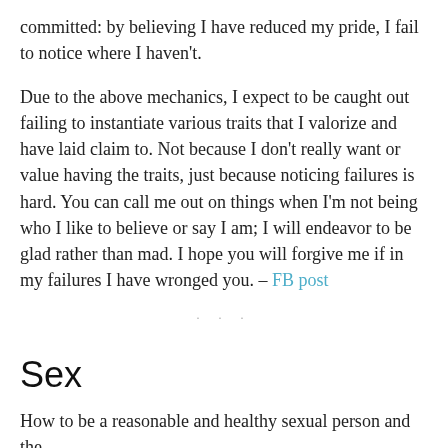committed: by believing I have reduced my pride, I fail to notice where I haven't.

Due to the above mechanics, I expect to be caught out failing to instantiate various traits that I valorize and have laid claim to. Not because I don't really want or value having the traits, just because noticing failures is hard. You can call me out on things when I'm not being who I like to believe or say I am; I will endeavor to be glad rather than mad. I hope you will forgive me if in my failures I have wronged you. – FB post
Sex
How to be a reasonable and healthy sexual person and the